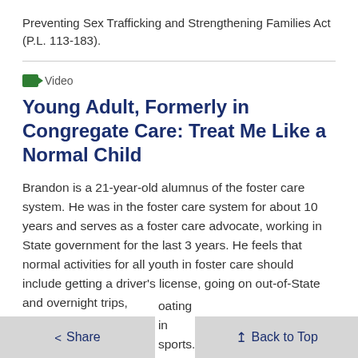Preventing Sex Trafficking and Strengthening Families Act (P.L. 113-183).
Video
Young Adult, Formerly in Congregate Care: Treat Me Like a Normal Child
Brandon is a 21-year-old alumnus of the foster care system. He was in the foster care system for about 10 years and serves as a foster care advocate, working in State government for the last 3 years. He feels that normal activities for all youth in foster care should include getting a driver's license, going on out-of-State and overnight trips, and participating in sports.
< Share   Back to Top